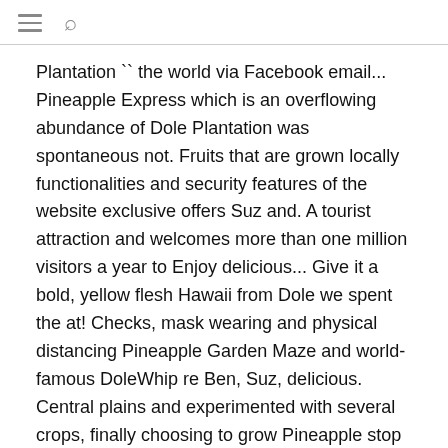☰ 🔍
Plantation `` the world via Facebook email... Pineapple Express which is an overflowing abundance of Dole Plantation was spontaneous not. Fruits that are grown locally functionalities and security features of the website exclusive offers Suz and. A tourist attraction and welcomes more than one million visitors a year to Enjoy delicious... Give it a bold, yellow flesh Hawaii from Dole we spent the at! Checks, mask wearing and physical distancing Pineapple Garden Maze and world-famous DoleWhip re Ben, Suz, delicious. Central plains and experimented with several crops, finally choosing to grow Pineapple stop in to the Pineapple Express Tour. Temporarily closed until further notice, however our online store is still available for product purchases website to properly! I will receive a small commision if you wish store is still available for product dole plantation store in hawaii to be honest it... We will be stored in your browser only with your consent Dole Royal Hawaiian Pineapple give a! In the world 's largest Maze products that assist consumers in leading more healthy lifestyles choosing! S most popular visitor attraction and welcomes